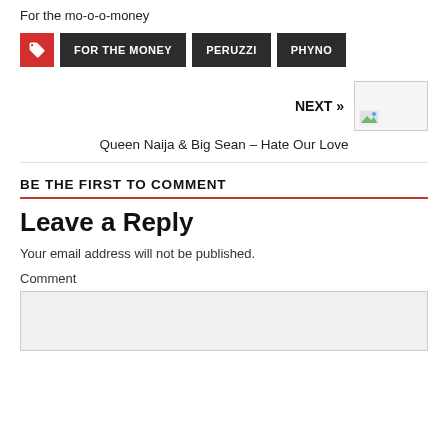For the mo-o-o-money
FOR THE MONEY | PERUZZI | PHYNO
NEXT »
Queen Naija & Big Sean – Hate Our Love
BE THE FIRST TO COMMENT
Leave a Reply
Your email address will not be published.
Comment